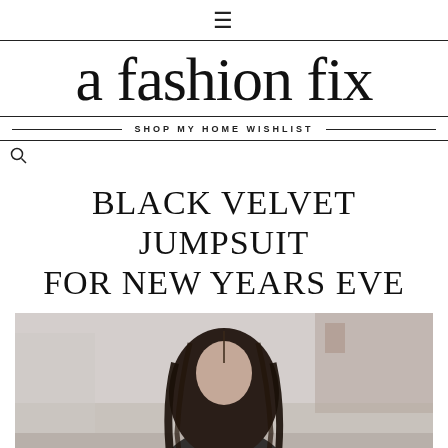≡
a fashion fix
SHOP MY HOME WISHLIST
BLACK VELVET JUMPSUIT FOR NEW YEARS EVE
[Figure (photo): Street style photo of a woman with long dark hair wearing a black velvet jumpsuit, photographed outdoors with blurred building background]